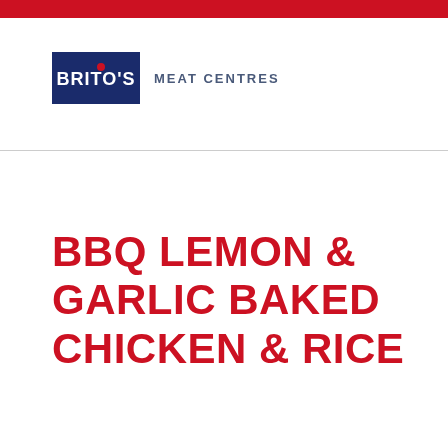[Figure (logo): Brito's Meat Centres logo — dark blue rectangle with white bold text BRITO'S and a red dot above the I, followed by MEAT CENTRES text in dark grey to the right]
BBQ LEMON & GARLIC BAKED CHICKEN & RICE